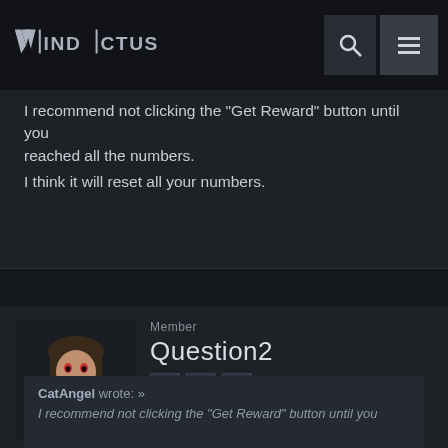Vindictus
I recommend not clicking the "Get Reward" button until you reached all the numbers.
I think it will reset all your numbers.
Member
Question2
Vindictus Rep: 3,235
Posts: 718
JANUARY 24, 2017  EDITED JANUARY 24, 2017
CatAngel wrote: »
I recommend not clicking the "Get Reward" button until you